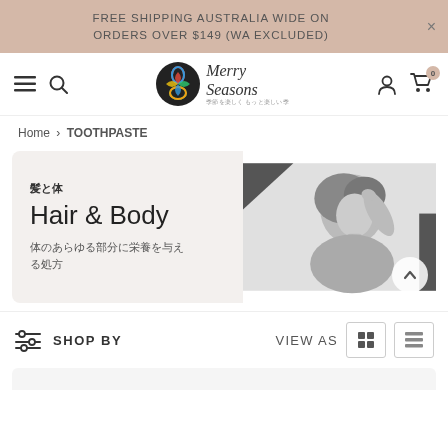FREE SHIPPING AUSTRALIA WIDE ON ORDERS OVER $149 (WA EXCLUDED)
[Figure (logo): Merry Seasons logo with colorful clover icon]
Home > TOOTHPASTE
[Figure (photo): Hero banner with Japanese text '髪と体', English 'Hair & Body', description '体のあらゆる部分に栄養を与える処方', and a black-and-white photo of a woman with her hand in her hair]
SHOP BY
VIEW AS